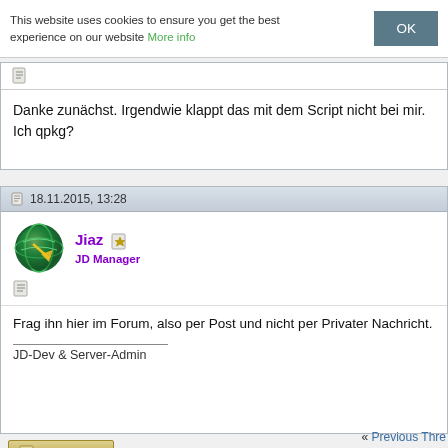This website uses cookies to ensure you get the best experience on our website More info OK
Danke zunächst. Irgendwie klappt das mit dem Script nicht bei mir. Ich qpkg?
18.11.2015, 13:28
Jiaz JD Manager
Frag ihn hier im Forum, also per Post und nicht per Privater Nachricht.
JD-Dev & Server-Admin
« Previous Thre